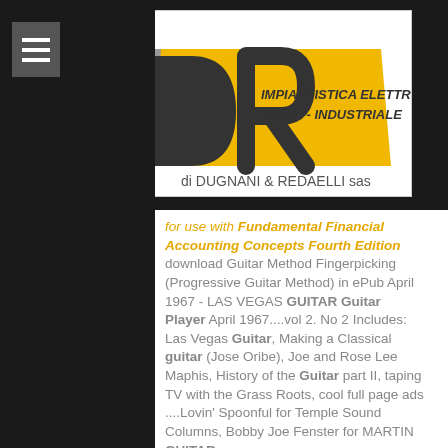[Figure (logo): DR logo for Dugnani & Redaelli sas - Impiantistica Elettrica Civile-Industriale, with yellow parallelogram background and grey DR letterforms]
for use with Fundamental Financial Accounting Concepts Fourth Edition download Guitar Method Fingerpicking (Progressive Guitar Method) in ePub April 1967 - LAS VEGAS GUITAR Guitar Player April 1967....vol 2. No 2 Includes: Las Vegas Guitar, Making a Classical guitar (Jose Oribe), Joe and Rose Lee Maphis, History of the Guitar part II, taping TV with the Grass Roots, cool full page ads ....Lovin' Spoonful for Temple Sound Columns, Bobby Joe Fenster for MARTIN GUITAR,